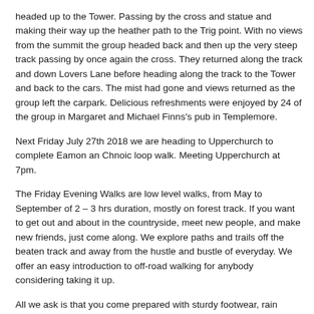headed up to the Tower. Passing by the cross and statue and making their way up the heather path to the Trig point. With no views from the summit the group headed back and then up the very steep track passing by once again the cross. They returned along the track and down Lovers Lane before heading along the track to the Tower and back to the cars. The mist had gone and views returned as the group left the carpark. Delicious refreshments were enjoyed by 24 of the group in Margaret and Michael Finns's pub in Templemore.
Next Friday July 27th 2018 we are heading to Upperchurch to complete Eamon an Chnoic loop walk. Meeting Upperchurch at 7pm.
The Friday Evening Walks are low level walks, from May to September of 2 – 3 hrs duration, mostly on forest track. If you want to get out and about in the countryside, meet new people, and make new friends, just come along. We explore paths and trails off the beaten track and away from the hustle and bustle of everyday. We offer an easy introduction to off-road walking for anybody considering taking it up.
All we ask is that you come prepared with sturdy footwear, rain jacket, drink and snack. Everyone welcome, old friends and